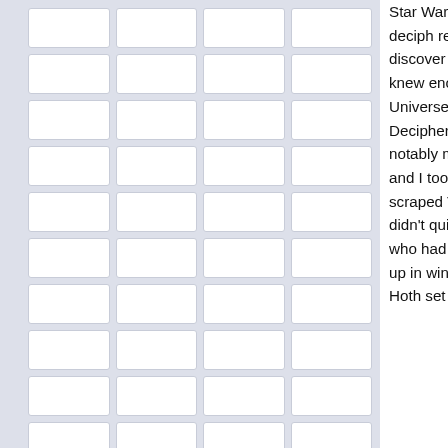[Figure (illustration): Left panel with a light gray background filled with a grid of white rounded-rectangle brick shapes arranged in 4 columns]
Star Wars CCG, all I wanted was to put the notorious alongside my Darth Vader. I didn't know about deciph really know about Decipher - and those Premiere rule card checklist for me to scan through and discover th card. So I just bought pack after pack, getting more i anxious to finally find that Fett rare (I knew enough t a rare). Somehow the complete lack of any cards fro say nothing of the Expanded Universe, didn't dampe the next pack. Then, in my college's computer lab the the first time. Decipher.com became one of the few s at, and sooner or later I stumbled upon the card list p name notably missing. The good news was that by th since I was busy enough trying to build jawa/tusken r and I took one box of commons and uncommons wit some of the greatest decks ever out of those scraped Those decks would never have stood up in a tournam our rented beach cottage they ruled. We didn't quite don't get the X-Y rule or what that even was all abou argued a bit about who won battles and who had to d didn't. We learned how to play and we also learned, a our mother, to not get so wrapped up in winning and play. And so, of course, Big D had us hooked. We bo and were enthralled with the Hoth set and somewher was released. So then I had my first Boba Fett and, c
Sebastian B.
[Figure (screenshot): Bottom navigation bar with rounded pill-shaped tab elements and circular elements on a gray gradient background, followed by a dark space-themed banner with orange/red starburst rays]